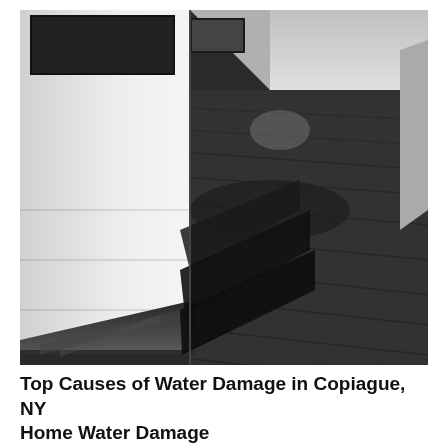[Figure (photo): Interior hallway of a building with dark carpet flooring that is visibly wet and water-damaged. White walls on the left with windows, and the corridor extends into the background. The carpet appears saturated with water pooling along the base of the wall.]
Top Causes of Water Damage in Copiague, NY Home Water Damage